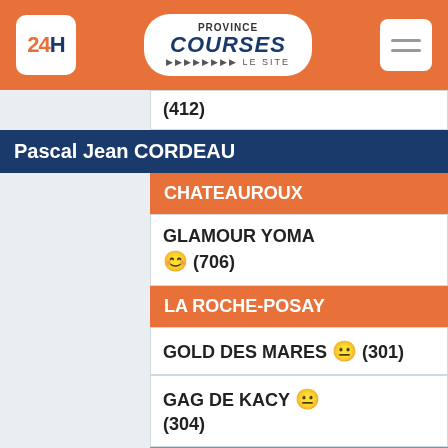[Figure (screenshot): Header with 24h logo, Province Courses Le Site logo, and hamburger menu on orange background]
|  | (412) |
| Pascal Jean CORDEAU |  |
|  | CHATEAUROUX |
|  | GLAMOUR YOMA 😊 (706) |
|  | LA ROCHE-POSAY |
|  | GOLD DES MARES 😐 (301) |
|  | GAG DE KACY 😐 (304) |
|  | MANSLE |
|  | FLASH DE LUNE 😐 (609) |
|  | IRONIE DE BASSARD 😐 (307) |